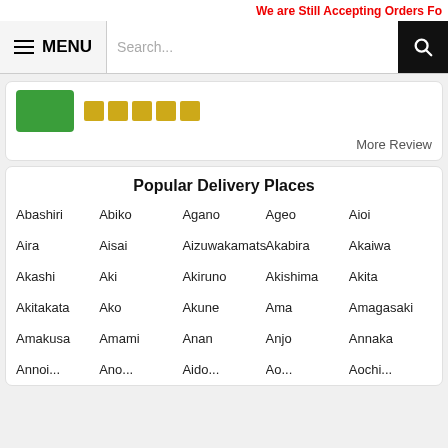We are Still Accepting Orders Fo
MENU
Search...
More Review
Popular Delivery Places
Abashiri
Abiko
Agano
Ageo
Aioi
Aira
Aisai
Aizuwakamatsu
Akabira
Akaiwa
Akashi
Aki
Akiruno
Akishima
Akita
Akitakata
Ako
Akune
Ama
Amagasaki
Amakusa
Amami
Anan
Anjo
Annaka